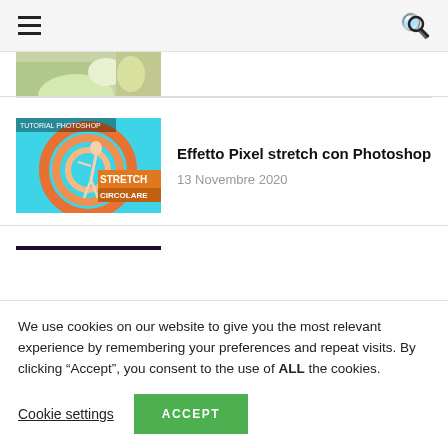Navigation bar with hamburger menu and search icon
[Figure (photo): Partial thumbnail of a food/recipe photo (green and beige tones), cropped at top]
[Figure (photo): Tutorial thumbnail showing a woman figure with circular orange/teal pixel stretch effect and text 'TUTORIAL PHOTOSHOP STRETCH CIRCOLARE']
Effetto Pixel stretch con Photoshop
13 Novembre 2020
[Figure (photo): Dark brick wall background with purple/green neon sign reading 'BAR EDEN']
Come creare effetto neon con photoshop
7 October 2020
We use cookies on our website to give you the most relevant experience by remembering your preferences and repeat visits. By clicking “Accept”, you consent to the use of ALL the cookies.
Cookie settings
ACCEPT